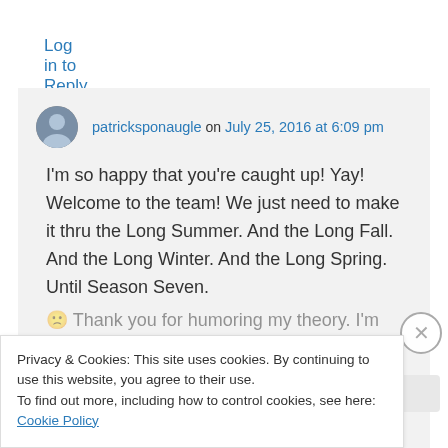Log in to Reply
patricksponaugle on July 25, 2016 at 6:09 pm
I'm so happy that you're caught up! Yay! Welcome to the team! We just need to make it thru the Long Summer. And the Long Fall. And the Long Winter. And the Long Spring. Until Season Seven.
Privacy & Cookies: This site uses cookies. By continuing to use this website, you agree to their use. To find out more, including how to control cookies, see here: Cookie Policy
Close and accept